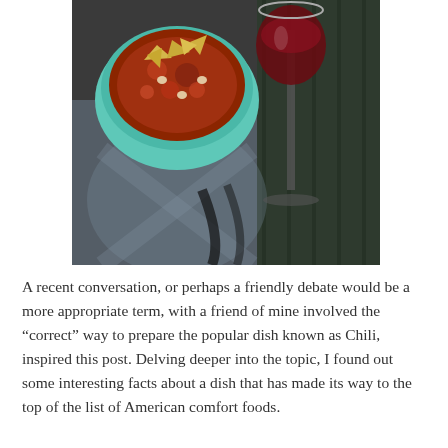[Figure (photo): Overhead photo of a teal/mint colored bowl of chili topped with tortilla chips, next to a wine glass filled with red wine, set on an outdoor surface (wooden deck and a glass table).]
A recent conversation, or perhaps a friendly debate would be a more appropriate term, with a friend of mine involved the “correct” way to prepare the popular dish known as Chili, inspired this post. Delving deeper into the topic, I found out some interesting facts about a dish that has made its way to the top of the list of American comfort foods.